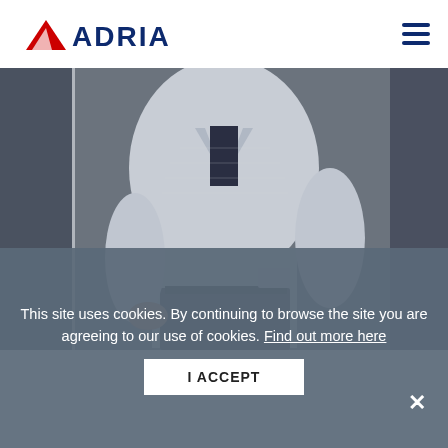[Figure (logo): Adria brand logo with red geometric icon and dark blue ADRIA text]
[Figure (photo): Man wearing a light grey blazer jacket with dark trousers, standing in front of a dark background]
This site uses cookies. By continuing to browse the site you are agreeing to our use of cookies. Find out more here
I ACCEPT